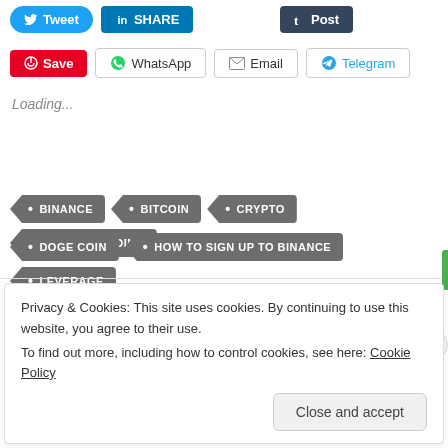Tweet
SHARE
Post
Save
WhatsApp
Email
Telegram
Loading...
BINANCE
BITCOIN
CRYPTO
CRYPTO TRADING
DOGE COIN
HOW TO SIGN UP TO BINANCE
LEVERAGE
Privacy & Cookies: This site uses cookies. By continuing to use this website, you agree to their use.
To find out more, including how to control cookies, see here: Cookie Policy
Close and accept